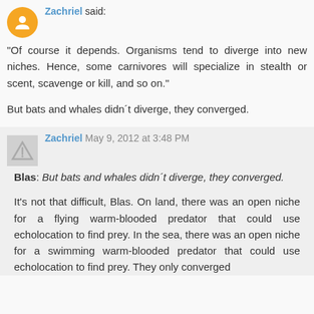Zachriel said:
"Of course it depends. Organisms tend to diverge into new niches. Hence, some carnivores will specialize in stealth or scent, scavenge or kill, and so on."
But bats and whales didn´t diverge, they converged.
Zachriel May 9, 2012 at 3:48 PM
Blas: But bats and whales didn´t diverge, they converged.
It's not that difficult, Blas. On land, there was an open niche for a flying warm-blooded predator that could use echolocation to find prey. In the sea, there was an open niche for a swimming warm-blooded predator that could use echolocation to find prey. They only converged